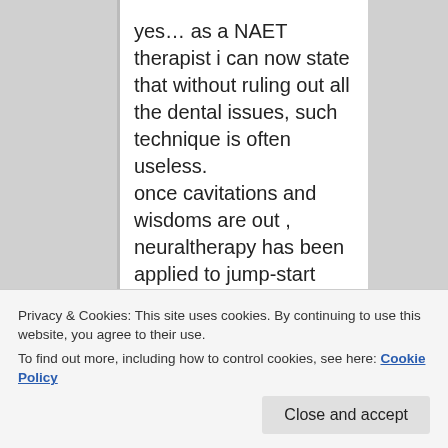yes… as a NAET therapist i can now state that without ruling out all the dental issues, such technique is often useless.
once cavitations and wisdoms are out , neuraltherapy has been applied to jump-start teeth meridians, works like magic! :-O
sadly, I am probably one of the few that made the connection… most others abandon naet after a while, as I almost did.
i now use it only AFTER dental job,
missing the finish line…
Privacy & Cookies: This site uses cookies. By continuing to use this website, you agree to their use.
To find out more, including how to control cookies, see here: Cookie Policy